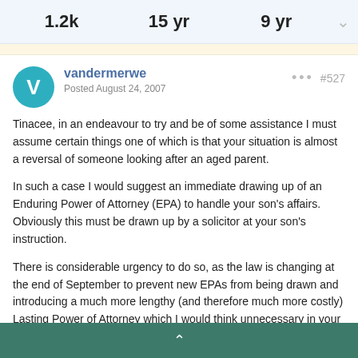1.2k   15 yr   9 yr
vandermerwe
Posted August 24, 2007
#527
Tinacee, in an endeavour to try and be of some assistance I must assume certain things one of which is that your situation is almost a reversal of someone looking after an aged parent.
In such a case I would suggest an immediate drawing up of an Enduring Power of Attorney (EPA) to handle your son's affairs. Obviously this must be drawn up by a solicitor at your son's instruction.
There is considerable urgency to do so, as the law is changing at the end of September to prevent new EPAs from being drawn and introducing a much more lengthy (and therefore much more costly) Lasting Power of Attorney which I would think unnecessary in your case.
^